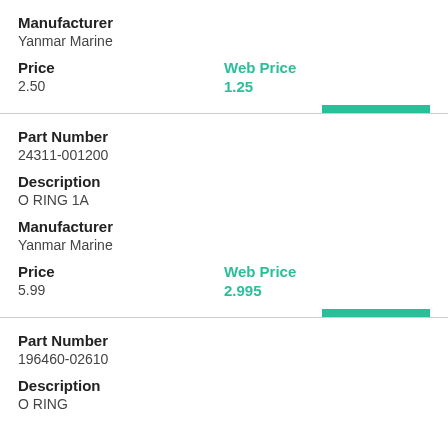Manufacturer
Yanmar Marine
Price
2.50
Web Price
1.25
Buy Now
Part Number
24311-001200
Description
O RING 1A
Manufacturer
Yanmar Marine
Price
5.99
Web Price
2.995
Buy Now
Part Number
196460-02610
Description
O RING